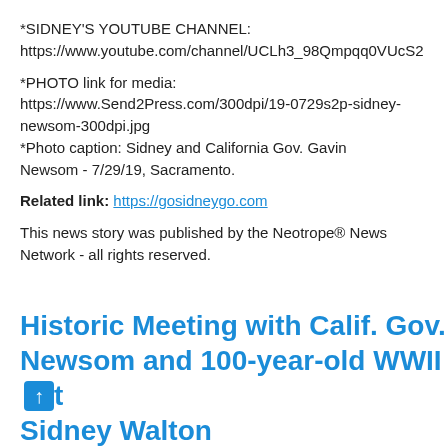*SIDNEY'S YOUTUBE CHANNEL: https://www.youtube.com/channel/UCLh3_98Qmpqq0VUcS2...
*PHOTO link for media: https://www.Send2Press.com/300dpi/19-0729s2p-sidney-newsom-300dpi.jpg
*Photo caption: Sidney and California Gov. Gavin Newsom - 7/29/19, Sacramento.
Related link: https://gosidneygo.com
This news story was published by the Neotrope® News Network - all rights reserved.
Historic Meeting with Calif. Gov. Newsom and 100-year-old WWII Vet Sidney Walton